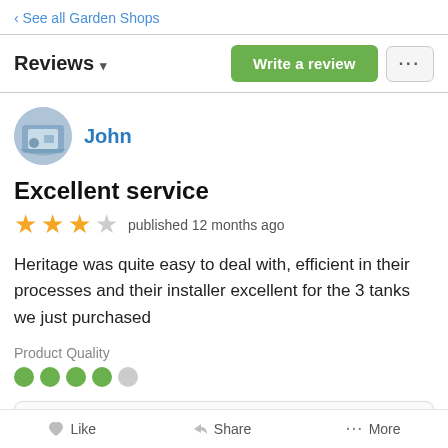‹ See all Garden Shops
Reviews ▾
John
Excellent service
★★★☆ published 12 months ago
Heritage was quite easy to deal with, efficient in their processes and their installer excellent for the 3 tanks we just purchased
Product Quality
Like   Share   More